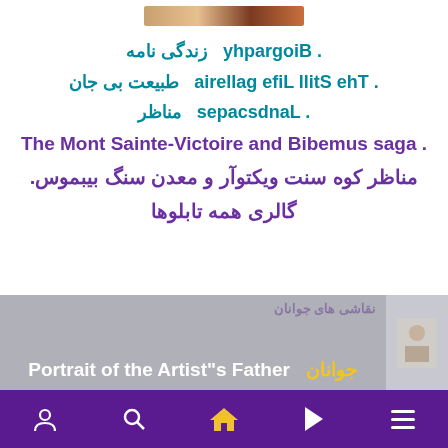[Figure (photo): Partial image of a painting at the top of the page]
. Biography  زندگی نامه
. The Still Life galleria  طبیعت بی جان
. Landscapes  مناظر
. The Mont Sainte-Victoire and Bibemus saga
مناظر کوه سنت ویکتوآر و معدن سنگ بیبموس.
گالری همه تابلوها
[Figure (photo): Bottom banner showing Portrait of the Artist's Father with Persian text for young people gallery]
Navigation bar with person, search, home, play, and menu icons